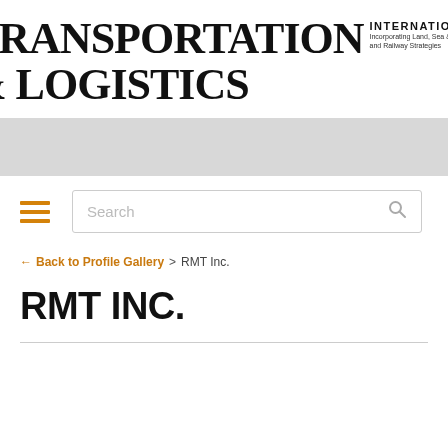[Figure (logo): Transportation & Logistics International magazine logo with tagline 'Incorporating Land, Sea & Air and Railway Strategies']
[Figure (other): Gray banner/advertisement placeholder area]
[Figure (other): Navigation bar with hamburger menu (three orange horizontal lines) and search box]
← Back to Profile Gallery > RMT Inc.
RMT INC.